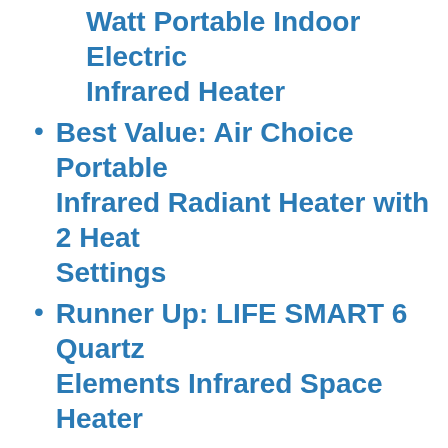Watt Portable Indoor Electric Infrared Heater
Best Value: Air Choice Portable Infrared Radiant Heater with 2 Heat Settings
Runner Up: LIFE SMART 6 Quartz Elements Infrared Space Heater
Honorable Mention: LIFE SMART LifeSmart 6 Element Large Room Infrared Heater
Features to Consider for the Best Infrared Space Heater